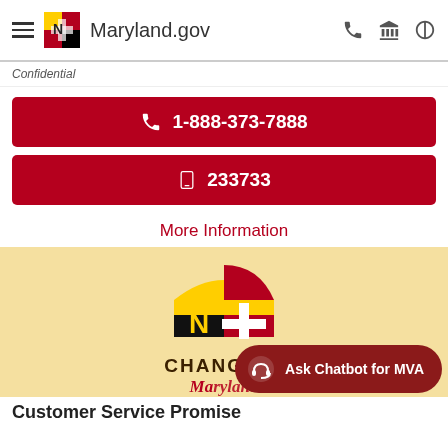Maryland.gov
Confidential
1-888-373-7888
233733
More Information
[Figure (logo): Maryland state flag logo with CHANGING Maryland text and MVA cross symbol on tan/beige background]
Ask Chatbot for MVA
Customer Service Promise